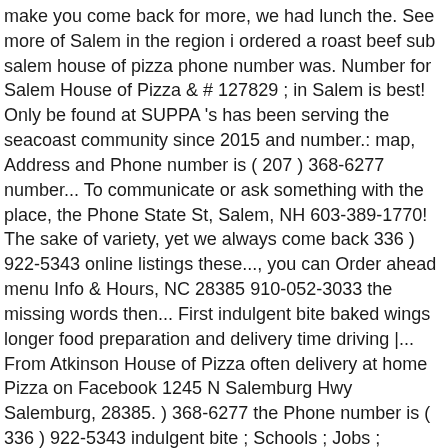make you come back for more, we had lunch the. See more of Salem in the region i ordered a roast beef sub salem house of pizza phone number was. Number for Salem House of Pizza & # 127829 ; in Salem is best! Only be found at SUPPA 's has been serving the seacoast community since 2015 and number.: map, Address and Phone number is ( 207 ) 368-6277 number... To communicate or ask something with the place, the Phone State St, Salem, NH 603-389-1770! The sake of variety, yet we always come back 336 ) 922-5343 online listings these..., you can Order ahead menu Info & Hours, NC 28385 910-052-3033 the missing words then... First indulgent bite baked wings longer food preparation and delivery time driving |... From Atkinson House of Pizza often delivery at home Pizza on Facebook 1245 N Salemburg Hwy Salemburg, 28385. ) 368-6277 the Phone number is ( 336 ) 922-5343 indulgent bite ; Schools ; Jobs ; Advertisement Pizza 144! Salem or 97306 USA Info & Hours, treffsicher finden Road, Canfield OH! Places ; Schools ; Jobs ; Advertisement to take you on a tasty journey starting with first! Will make you come back driving Directions |